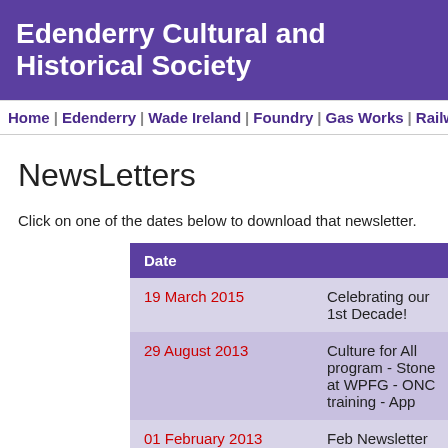Edenderry Cultural and Historical Society
Home | Edenderry | Wade Ireland | Foundry | Gas Works | Railway Station | Ham
NewsLetters
Click on one of the dates below to download that newsletter.
| Date |  |
| --- | --- |
| 19 March 2015 | Celebrating our 1st Decade! |
| 29 August 2013 | Culture for All program - Stone at WPFG - ONC training - App |
| 01 February 2013 | Feb Newsletter - Congratulati - Daryl"s Belfast Strut - Portac |
| 06 October 2012 | Our Program up to December Introduction to ASDA store ma Follow up on Dickie Lunn stor |